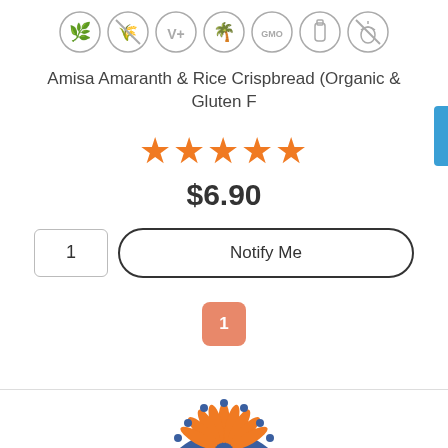[Figure (infographic): Row of 7 circular dietary/allergy icons: vegan leaf, gluten-free grain crossed, V+ vegan, palm tree, GMO free, dairy-free bottle, nut-free acorn]
Amisa Amaranth & Rice Crispbread (Organic & Gluten F
[Figure (infographic): 5 orange star rating icons]
$6.90
1
Notify Me
1
[Figure (logo): Decorative sunburst/flower logo in orange and navy blue at the bottom of the page]